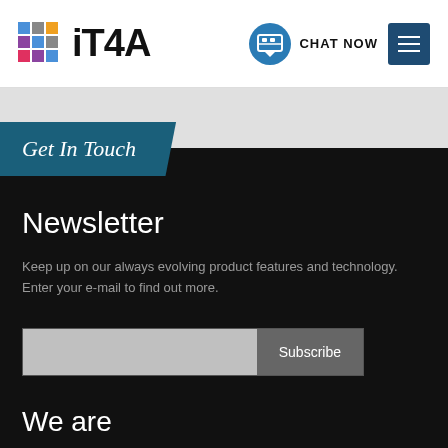[Figure (logo): iT4A logo with colorful grid of squares on the left and bold iT4A text on the right]
[Figure (other): Chat Now button with circular blue chat icon and CHAT NOW label, plus dark blue hamburger menu button]
Get In Touch
Newsletter
Keep up on our always evolving product features and technology. Enter your e-mail to find out more.
[Figure (other): Email input field with Subscribe button]
We are